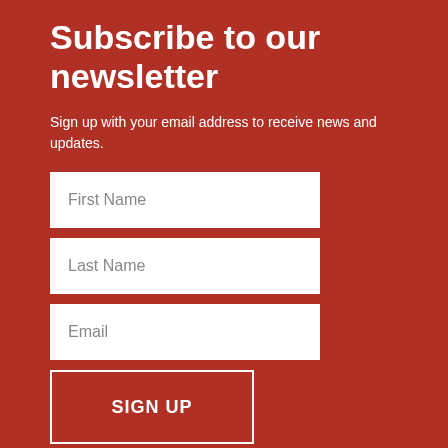Subscribe to our newsletter
Sign up with your email address to receive news and updates.
[Figure (other): Form input field with placeholder text 'First Name']
[Figure (other): Form input field with placeholder text 'Last Name']
[Figure (other): Form input field with placeholder text 'Email']
[Figure (other): Button labeled 'SIGN UP' with white border outline]
Boston While Black respects your privacy and is committed to protecting your personal data. Learn more